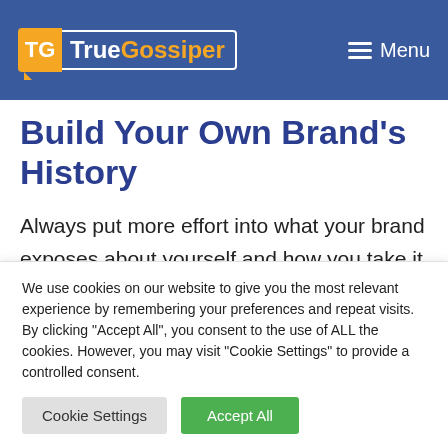TrueGossiper | Menu
Build Your Own Brand's History
Always put more effort into what your brand exposes about yourself and how you take it further to impact your brand and business better. Talk
We use cookies on our website to give you the most relevant experience by remembering your preferences and repeat visits. By clicking "Accept All", you consent to the use of ALL the cookies. However, you may visit "Cookie Settings" to provide a controlled consent.
Cookie Settings | Accept All